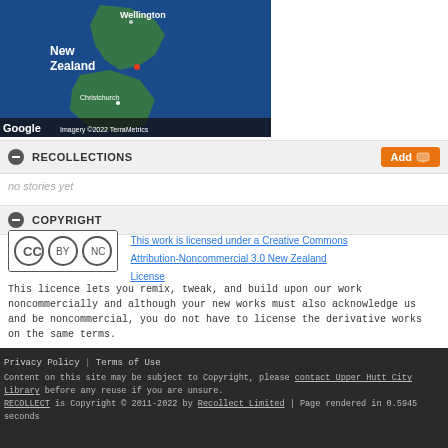[Figure (map): Google Maps satellite view of New Zealand showing Wellington, Christchurch, and surrounding ocean. Labels: Wellington, New Zealand, Christchurch, Google, Imagery ©2022 TerraMetrics]
RECOLLECTIONS
no stories yet
COPYRIGHT
[Figure (logo): Creative Commons BY NC license logo]
This work is licensed under a Creative Commons Attribution-Noncommercial 3.0 New Zealand License
This licence lets you remix, tweak, and build upon our work noncommercially and although your new works must also acknowledge us and be noncommercial, you do not have to license the derivative works on the same terms.
Privacy Policy | Terms of Use
Content on this site may be subject to Copyright, please contact Upper Hutt City Library before any reuse if you are unsure.
RECOLLECT is Copyright © 2011-2022 by Recollect Limited | Page rendered in 0.5945 seconds